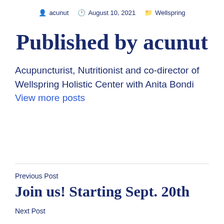acunut  August 10, 2021  Wellspring
Published by acunut
Acupuncturist, Nutritionist and co-director of Wellspring Holistic Center with Anita Bondi View more posts
Previous Post
Join us! Starting Sept. 20th
Next Post